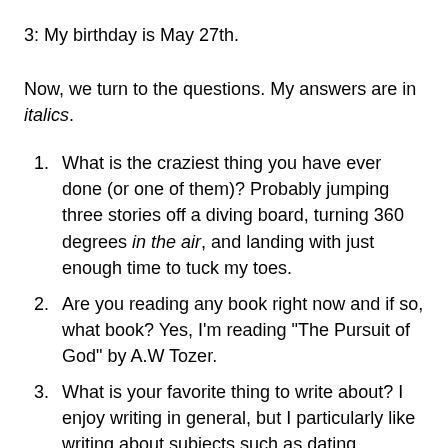3: My birthday is May 27th.
Now, we turn to the questions. My answers are in italics.
1. What is the craziest thing you have ever done (or one of them)? Probably jumping three stories off a diving board, turning 360 degrees in the air, and landing with just enough time to tuck my toes.
2. Are you reading any book right now and if so, what book? Yes, I'm reading "The Pursuit of God" by A.W Tozer.
3. What is your favorite thing to write about? I enjoy writing in general, but I particularly like writing about subjects such as dating